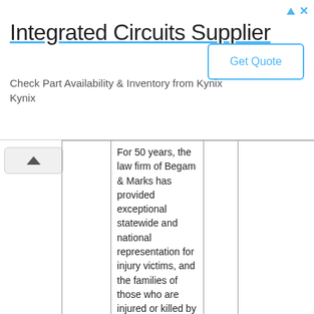[Figure (other): Advertisement banner: Integrated Circuits Supplier - Check Part Availability & Inventory from Kynix, with Get Quote button]
|  | Firm Name |  | Actions |  |
| --- | --- | --- | --- | --- |
|  | For 50 years, the law firm of Begam & Marks has provided exceptional statewide and national representation for injury victims, and the families of those who are injured or killed by the conduct of others. |  |  |  |
| 10.05 mi. | Zachar Law Firm Phoenix Personal Injury Lawyer
Phoenix, AZ |  | View Details
Website
Testimonials
Send Email
Contact Multiple |  |